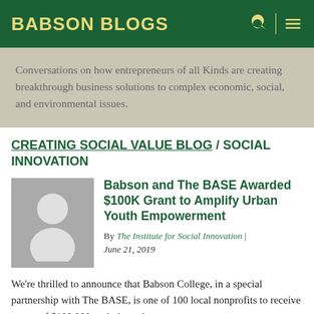BABSON BLOGS
Conversations on how entrepreneurs of all Kinds are creating breakthrough business solutions to complex economic, social, and environmental issues.
CREATING SOCIAL VALUE BLOG / SOCIAL INNOVATION
[Figure (illustration): Gray avatar placeholder image showing a generic person silhouette]
Babson and The BASE Awarded $100K Grant to Amplify Urban Youth Empowerment
By The Institute for Social Innovation | June 21, 2019
We're thrilled to announce that Babson College, in a special partnership with The BASE, is one of 100 local nonprofits to receive grants of $100,000 each through